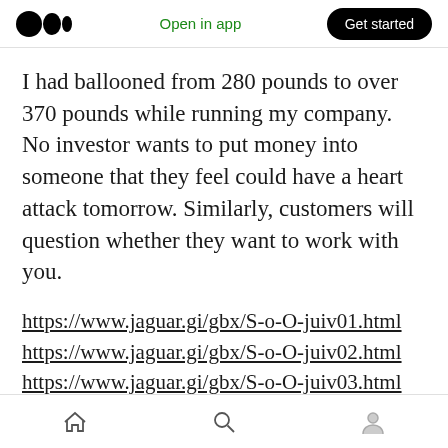Medium logo | Open in app | Get started
I had ballooned from 280 pounds to over 370 pounds while running my company. No investor wants to put money into someone that they feel could have a heart attack tomorrow. Similarly, customers will question whether they want to work with you.
https://www.jaguar.gi/gbx/S-o-O-juiv01.html
https://www.jaguar.gi/gbx/S-o-O-juiv02.html
https://www.jaguar.gi/gbx/S-o-O-juiv03.html
https://www.jaguar.gi/gbx/S-o-O-juiv04.html
https://www.jaguar.gi/gbx/S-o-O-juiv05.html
Home | Search | Profile